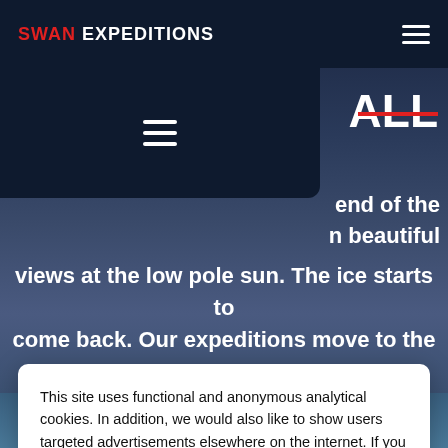SWAN EXPEDITIONS
ALL
end of the
n beautiful
views at the low pole sun. The ice starts to come back. Our expeditions move to the west and last 8 days.
This site uses functional and anonymous analytical cookies. In addition, we would also like to show users targeted advertisements elsewhere on the internet. If you give permission for the latter, click OK.  Read more
Rather not
Okay
Mastership